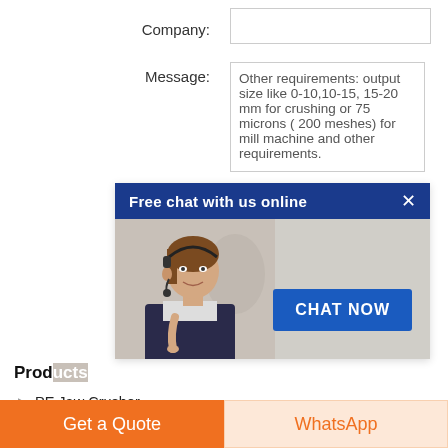Company:
Message:
Other requirements: output size like 0-10,10-15, 15-20 mm for crushing or 75 microns ( 200 meshes) for mill machine and other requirements.
[Figure (screenshot): Chat popup with dark blue header 'Free chat with us online', close X button, photo of woman with headset, and 'CHAT NOW' blue button]
Products
PE Jaw Crusher
PY Cone Crusher
BWZ Heavy Duty Apron Feeder
Get a Quote
WhatsApp